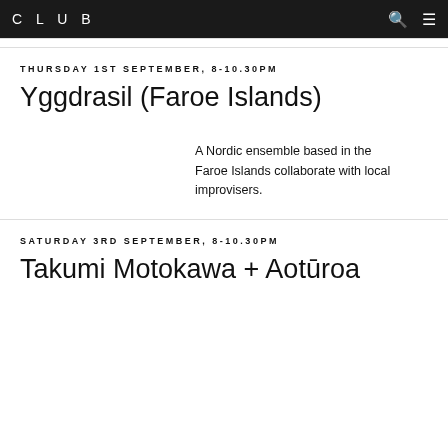CLUB
THURSDAY 1ST SEPTEMBER, 8-10.30PM
Yggdrasil (Faroe Islands)
A Nordic ensemble based in the Faroe Islands collaborate with local improvisers.
SATURDAY 3RD SEPTEMBER, 8-10.30PM
Takumi Motokawa + Aotūroa